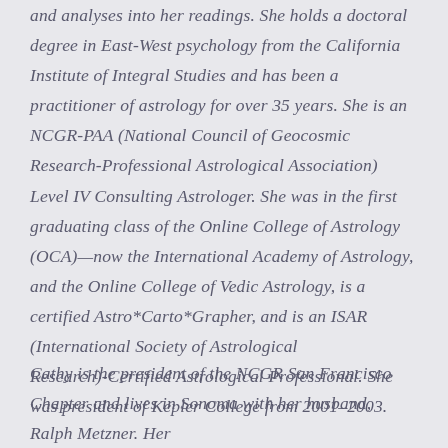and analyses into her readings. She holds a doctoral degree in East-West psychology from the California Institute of Integral Studies and has been a practitioner of astrology for over 35 years. She is an NCGR-PAA (National Council of Geocosmic Research-Professional Astrological Association) Level IV Consulting Astrologer. She was in the first graduating class of the Online College of Astrology (OCA)—now the International Academy of Astrology, and the Online College of Vedic Astrology, is a certified Astro*Carto*Grapher, and is an ISAR (International Society of Astrological Research)-Certified Astrological Professional. She was president of Kepler College from 2001–2003.
Cathy is the president of the NCGR San Francisco Chapter and lives in Sonoma with her husband, Ralph Metzner. Her